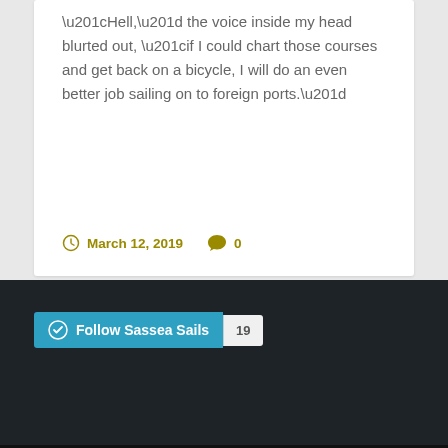“Hell,” the voice inside my head blurted out, “if I could chart those courses and get back on a bicycle, I will do an even better job sailing on to foreign ports.”
March 12, 2019  0
Follow Sassea Sails  19